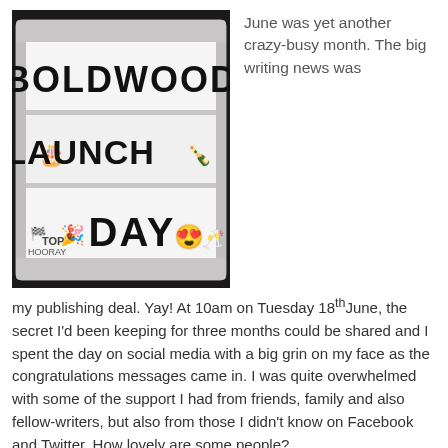[Figure (photo): A lightbox sign displaying 'BOLDWOOD LAUNCH DAY' with celebratory emojis and party icons, photographed against a black background.]
June was yet another crazy-busy month. The big writing news was my publishing deal. Yay! At 10am on Tuesday 18th June, the secret I'd been keeping for three months could be shared and I spent the day on social media with a big grin on my face as the congratulations messages came in. I was quite overwhelmed with some of the support I had from friends, family and also fellow-writers, but also from those I didn't know on Facebook and Twitter. How lovely are some people?